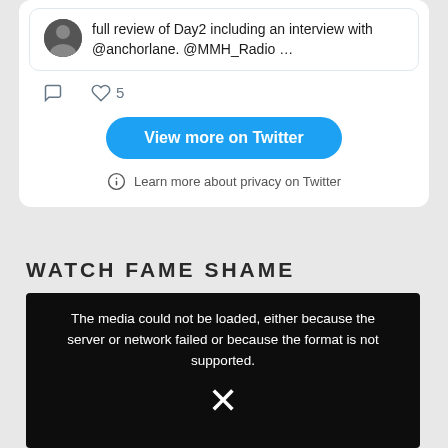full review of Day2 including an interview with @anchorlane. @MMH_Radio …
[Figure (screenshot): Tweet action icons: comment bubble and heart with count 5]
[Figure (screenshot): Blue rounded button labeled 'View more on Twitter']
Learn more about privacy on Twitter
WATCH FAME SHAME
[Figure (screenshot): Video player showing error message: The media could not be loaded, either because the server or network failed or because the format is not supported. An X close icon is shown below.]
The media could not be loaded, either because the server or network failed or because the format is not supported.